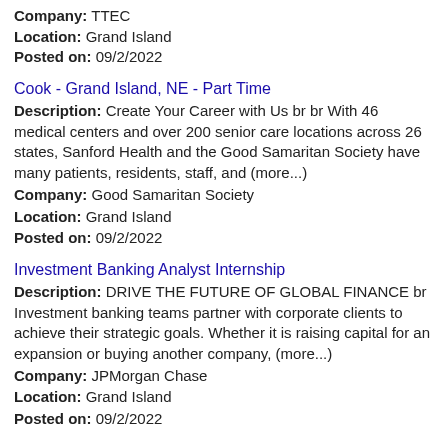Company: TTEC
Location: Grand Island
Posted on: 09/2/2022
Cook - Grand Island, NE - Part Time
Description: Create Your Career with Us br br With 46 medical centers and over 200 senior care locations across 26 states, Sanford Health and the Good Samaritan Society have many patients, residents, staff, and (more...)
Company: Good Samaritan Society
Location: Grand Island
Posted on: 09/2/2022
Investment Banking Analyst Internship
Description: DRIVE THE FUTURE OF GLOBAL FINANCE br Investment banking teams partner with corporate clients to achieve their strategic goals. Whether it is raising capital for an expansion or buying another company, (more...)
Company: JPMorgan Chase
Location: Grand Island
Posted on: 09/2/2022
Physician / Emergency Medicine / Nebraska / Locum or Permanent / W. Nebraska ABEM ABOEM shifts Job